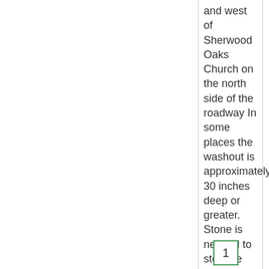and west of Sherwood Oaks Church on the north side of the roadway In some places the washout is approximately 30 inches deep or greater. Stone is needed to stop the water and protect drivers and the roadway.
1